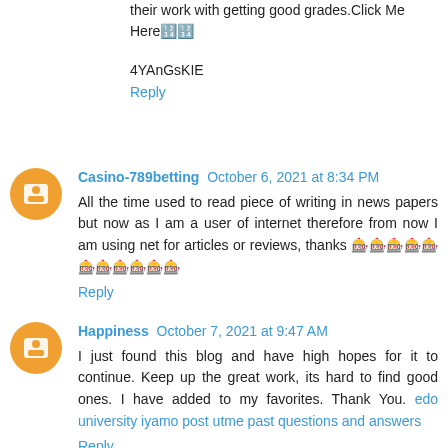their work with getting good grades.Click Me Here🔢🔢
4YAnGsKIE
Reply
Casino-789betting October 6, 2021 at 8:34 PM
All the time used to read piece of writing in news papers but now as I am a user of internet therefore from now I am using net for articles or reviews, thanks 🎰🎰🎰🎰🎰🎰🎰🎰🎰🎰🎰
Reply
Happiness October 7, 2021 at 9:47 AM
I just found this blog and have high hopes for it to continue. Keep up the great work, its hard to find good ones. I have added to my favorites. Thank You. edo university iyamo post utme past questions and answers
Reply